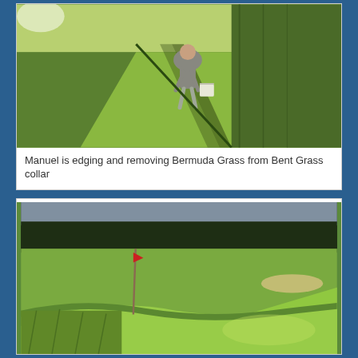[Figure (photo): A person bending over and edging/removing Bermuda Grass from a Bent Grass collar on a golf course, with a white bucket nearby. Taken in warm sunlight with long shadows visible on the green turf.]
Manuel is edging and removing Bermuda Grass from Bent Grass collar
[Figure (photo): A golf course green showing the distinct border between the smooth, bright green putting surface and the rougher Bermuda Grass collar. A flag/pin is visible in the background, with trees along the horizon.]